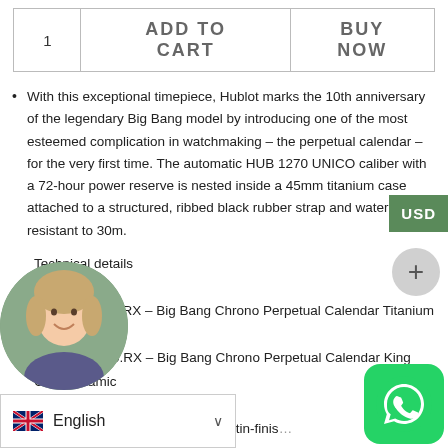| Qty | ADD TO CART | BUY NOW |
| --- | --- | --- |
| 1 | ADD TO CART | BUY NOW |
With this exceptional timepiece, Hublot marks the 10th anniversary of the legendary Big Bang model by introducing one of the most esteemed complication in watchmaking – the perpetual calendar – for the very first time. The automatic HUB 1270 UNICO caliber with a 72-hour power reserve is nested inside a 45mm titanium case attached to a structured, ribbed black rubber strap and water resistant to 30m.
Technical details
References
406. NM.0170.RX – Big Bang Chrono Perpetual Calendar Titanium Ceramic
406. OM.0180.RX – Big Bang Chrono Perpetual Calendar King Gold Ceramic
Case
...nium or 18K King Gold (both satin-finis...